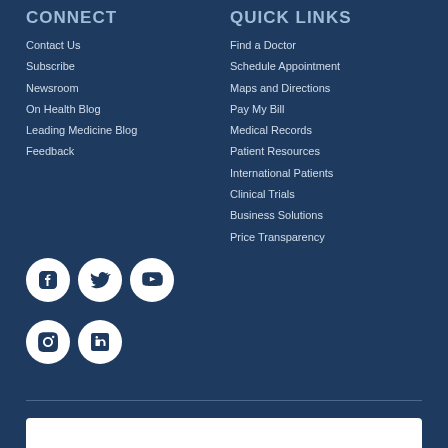CONNECT
Contact Us
Subscribe
Newsroom
On Health Blog
Leading Medicine Blog
Feedback
[Figure (infographic): Social media icons: Facebook, Twitter, YouTube, Instagram, LinkedIn on circular white backgrounds]
QUICK LINKS
Find a Doctor
Schedule Appointment
Maps and Directions
Pay My Bill
Medical Records
Patient Resources
International Patients
Clinical Trials
Business Solutions
Price Transparency